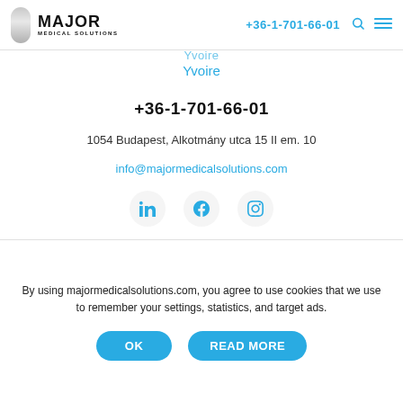Major Medical Solutions | +36-1-701-66-01
Yvoire
+36-1-701-66-01
1054 Budapest, Alkotmány utca 15 II em. 10
info@majormedicalsolutions.com
[Figure (other): Social media icons: LinkedIn, Facebook, Instagram]
All photo and video materials belong to their owners and
By using majormedicalsolutions.com, you agree to use cookies that we use to remember your settings, statistics, and target ads.